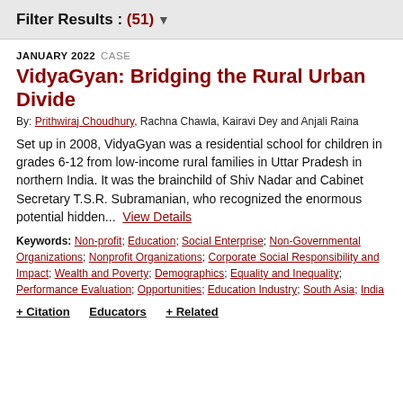Filter Results : (51) ▼
JANUARY 2022  CASE
VidyaGyan: Bridging the Rural Urban Divide
By: Prithwiraj Choudhury, Rachna Chawla, Kairavi Dey and Anjali Raina
Set up in 2008, VidyaGyan was a residential school for children in grades 6-12 from low-income rural families in Uttar Pradesh in northern India. It was the brainchild of Shiv Nadar and Cabinet Secretary T.S.R. Subramanian, who recognized the enormous potential hidden...  View Details
Keywords: Non-profit; Education; Social Enterprise; Non-Governmental Organizations; Nonprofit Organizations; Corporate Social Responsibility and Impact; Wealth and Poverty; Demographics; Equality and Inequality; Performance Evaluation; Opportunities; Education Industry; South Asia; India
+ Citation  Educators  + Related